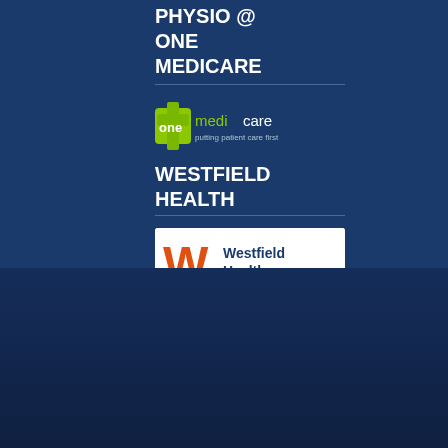PHYSIO @ ONE MEDICARE
[Figure (logo): One Medicare logo with green cross and text 'one medicare - putting patient care first']
WESTFIELD HEALTH
[Figure (logo): Westfield Health logo with orange W and text 'Harder working health cover']
Copyright © 2013-2021 Hallamshire Physiotherapy. All rights reserved. Website designed by Volta Creative
Home   Meet our Team   FAQ   Seminars   Sitemap   Useful Links